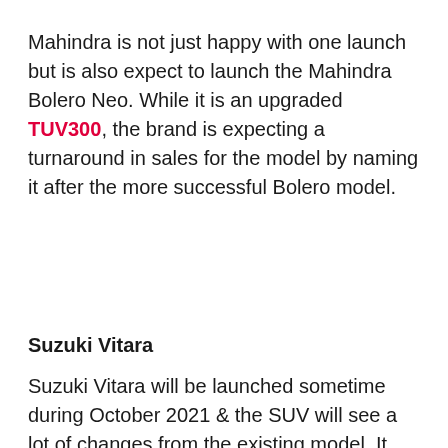Mahindra is not just happy with one launch but is also expect to launch the Mahindra Bolero Neo. While it is an upgraded TUV300, the brand is expecting a turnaround in sales for the model by naming it after the more successful Bolero model.
Suzuki Vitara
Suzuki Vitara will be launched sometime during October 2021 & the SUV will see a lot of changes from the existing model. It will have a mild hybrid powertrain along with the 1.4 Litre booster jet petrol engine.